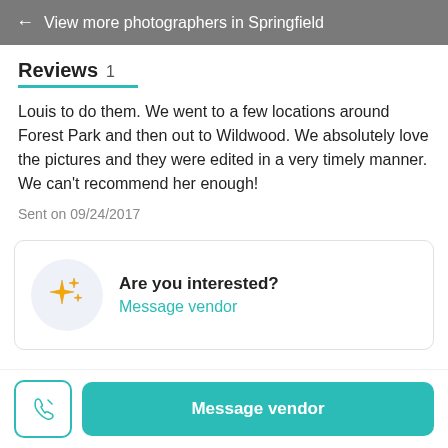← View more photographers in Springfield
Reviews 1
Louis to do them. We went to a few locations around Forest Park and then out to Wildwood. We absolutely love the pictures and they were edited in a very timely manner. We can't recommend her enough!
Sent on 09/24/2017
Are you interested?
Message vendor
Message vendor